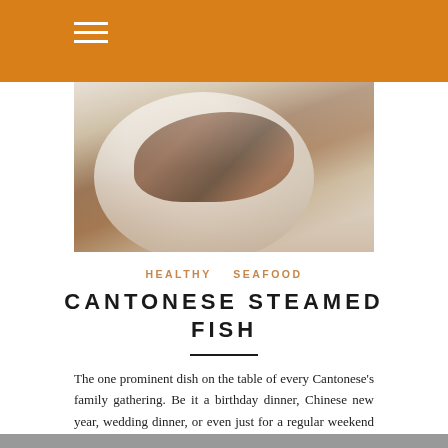[Figure (photo): A white plate with steamed fish in dark sauce, photographed from above on a marble surface]
HEALTHY   SEAFOOD
CANTONESE STEAMED FISH
The one prominent dish on the table of every Cantonese's family gathering. Be it a birthday dinner, Chinese new year, wedding dinner, or even just for a regular weekend dinner, this...
20 November, 2019